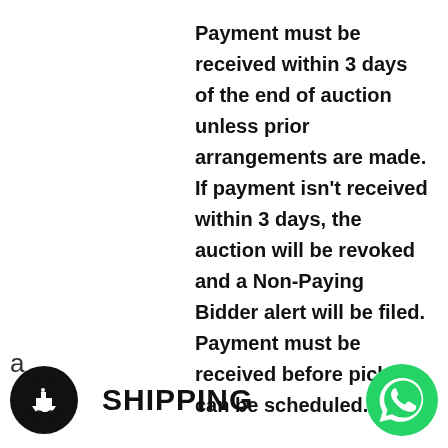Payment must be received within 3 days of the end of auction unless prior arrangements are made. If payment isn't received within 3 days, the auction will be revoked and a Non-Paying Bidder alert will be filed. Payment must be received before pick-up can be scheduled.
a
SHIPPING